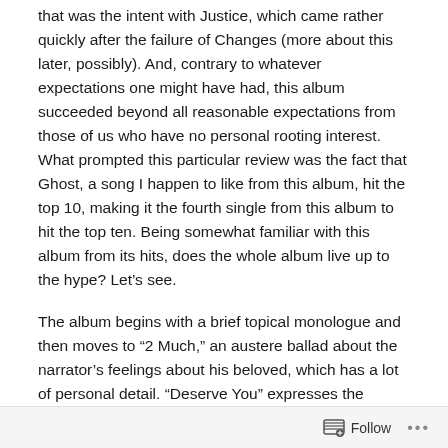that was the intent with Justice, which came rather quickly after the failure of Changes (more about this later, possibly). And, contrary to whatever expectations one might have had, this album succeeded beyond all reasonable expectations from those of us who have no personal rooting interest. What prompted this particular review was the fact that Ghost, a song I happen to like from this album, hit the top 10, making it the fourth single from this album to hit the top ten. Being somewhat familiar with this album from its hits, does the whole album live up to the hype? Let's see.
The album begins with a brief topical monologue and then moves to “2 Much,” an austere ballad about the narrator’s feelings about his beloved, which has a lot of personal detail. “Deserve You” expresses the narrator’s feelings that
Follow